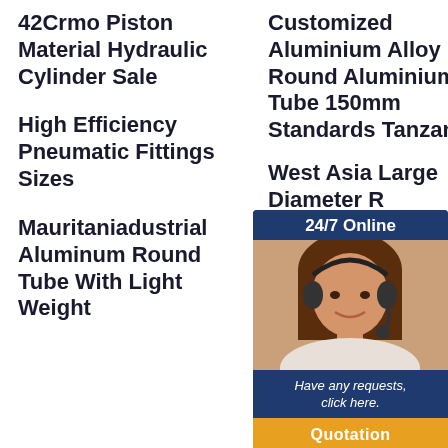42Crmo Piston Material Hydraulic Cylinder Sale
High Efficiency Pneumatic Fittings Sizes
Mauritaniadustrial Aluminum Round Tube With Light Weight
Customized Aluminium Alloy Round Aluminium Tube 150mm Standards Tanzania
West Asia Large Diameter Round T6 Aluminium For Radiator
Peru 20mm 6063 Anodized Aluminium Barrel Efficient
Customized Aluminium Alloy Round Aluminium
[Figure (photo): Customer service representative woman with headset, overlaid with '24/7 Online' banner, 'Have any requests, click here.' text, and 'Quotation' button in orange]